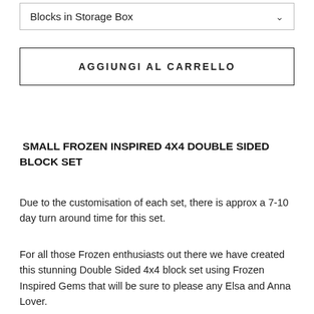Blocks in Storage Box
AGGIUNGI AL CARRELLO
SMALL FROZEN INSPIRED 4X4 DOUBLE SIDED BLOCK SET
Due to the customisation of each set, there is approx a 7-10 day turn around time for this set.
For all those Frozen enthusiasts out there we have created this stunning Double Sided 4x4 block set using Frozen Inspired Gems that will be sure to please any Elsa and Anna Lover.